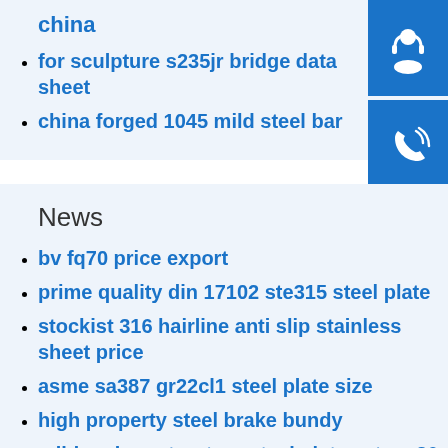china
for sculpture s235jr bridge data sheet
china forged 1045 mild steel bar
[Figure (illustration): Customer support headset icon on blue square background]
[Figure (illustration): Phone call icon on blue square background]
[Figure (illustration): Skype icon on blue square background]
News
bv fq70 price export
prime quality din 17102 ste315 steel plate
stockist 316 hairline anti slip stainless sheet price
asme sa387 gr22cl1 steel plate size
high property steel brake bundy
mild carbon structure steel plate astm a36